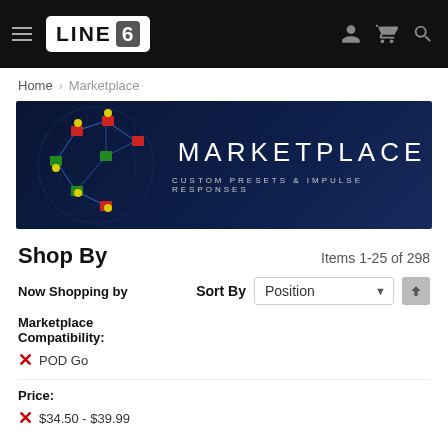LINE 6 — Navigation header with logo, hamburger menu, user, cart, and search icons
Home > Marketplace
[Figure (illustration): Line 6 Marketplace banner with dark blue background, network graph illustration on left, large white text MARKETPLACE and subtitle CUSTOM PRESETS & IMPULSE RESPONSES]
Shop By
Items 1-25 of 298
Now Shopping by
Sort By  Position
Marketplace Compatibility:
✕ POD Go
Price:
✕ $34.50 - $39.99